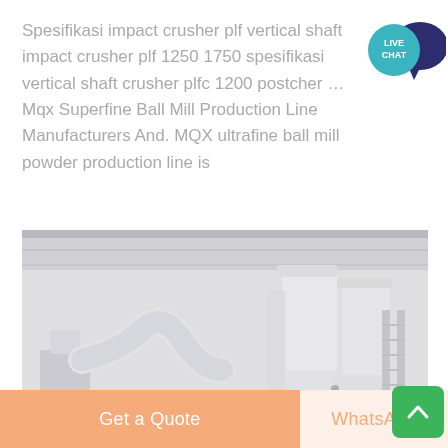Spesifikasi impact crusher plf vertical shaft impact crusher plf 1250 1750 spesifikasi vertical shaft crusher plfc 1200 postcher … Mqx Superfine Ball Mill Production Line Manufacturers And. MQX ultrafine ball mill powder production line is
[Figure (photo): Industrial powder production line equipment inside a factory building, showing large white cylindrical tanks, pipes, and structural framework.]
Get a Quote
WhatsApp